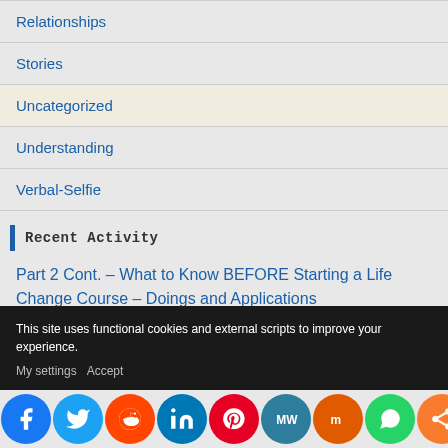Relationships
Stories
Uncategorized
Understanding
Verbal-Selfie
Recent Activity
Part 2 Cont. – What to Know BEFORE Starting a Life Change Course – Doings and Applications
This site uses functional cookies and external scripts to improve your experience.